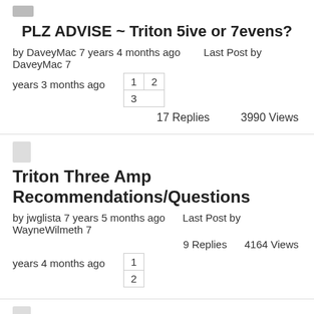PLZ ADVISE ~ Triton 5ive or 7evens?
by DaveyMac 7 years 4 months ago    Last Post by DaveyMac 7 years 3 months ago
17 Replies    3990 Views
Triton Three Amp Recommendations/Questions
by jwglista 7 years 5 months ago    Last Post by WayneWilmeth 7 years 4 months ago
9 Replies    4164 Views